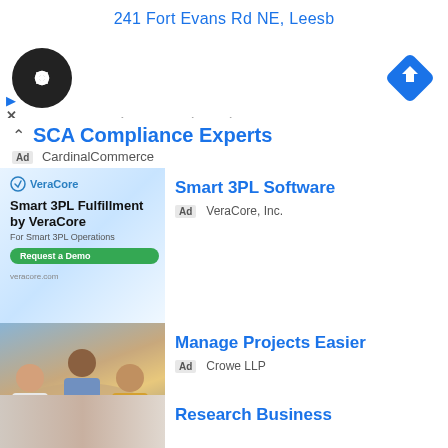241 Fort Evans Rd NE, Leesb
[Figure (screenshot): Map interface with circular logo (dark background with arrows icon) and blue diamond navigation icon, plus play and X icons, and 'In-store shopping' label with checkmark]
✓ In-store shopping
SCA Compliance Experts
Ad CardinalCommerce
[Figure (screenshot): VeraCore ad banner: Smart 3PL Fulfillment by VeraCore, For Smart 3PL Operations, Request a Demo button, with illustration of workers and software dashboard]
Smart 3PL Software
Ad VeraCore, Inc.
[Figure (photo): Three people gathered around a table looking at documents, one in blue shirt, one in white, one in yellow sweater]
Manage Projects Easier
Ad Crowe LLP
[Figure (photo): Partial photo of a woman, cut off at bottom of page]
Research Business